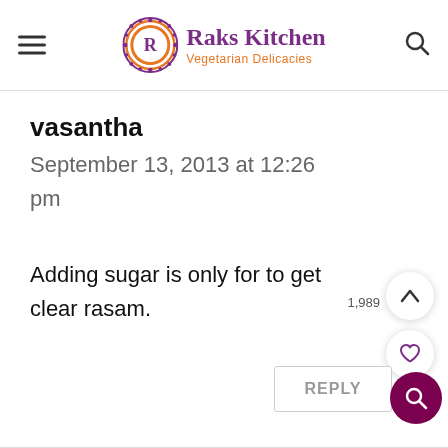Raks Kitchen Vegetarian Delicacies
vasantha
September 13, 2013 at 12:26 pm
Adding sugar is only for to get clear rasam.
REPLY